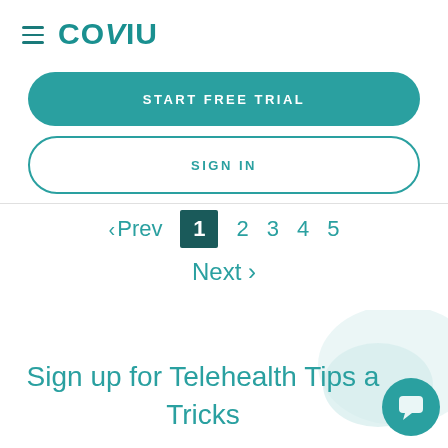[Figure (logo): Coviu logo with hamburger menu icon on the top left]
START FREE TRIAL
SIGN IN
< Prev  1  2  3  4  5  Next >
Sign up for Telehealth Tips a... Tricks